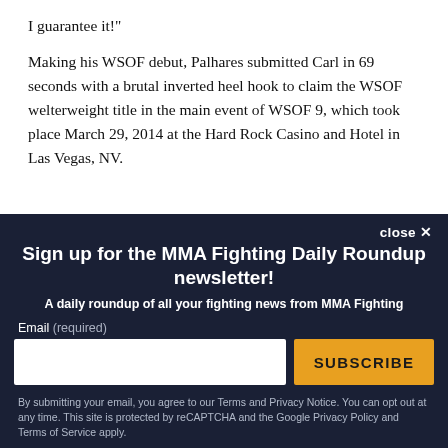I guarantee it!"
Making his WSOF debut, Palhares submitted Carl in 69 seconds with a brutal inverted heel hook to claim the WSOF welterweight title in the main event of WSOF 9, which took place March 29, 2014 at the Hard Rock Casino and Hotel in Las Vegas, NV.
Sign up for the MMA Fighting Daily Roundup newsletter!
A daily roundup of all your fighting news from MMA Fighting
Email (required)
SUBSCRIBE
By submitting your email, you agree to our Terms and Privacy Notice. You can opt out at any time. This site is protected by reCAPTCHA and the Google Privacy Policy and Terms of Service apply.